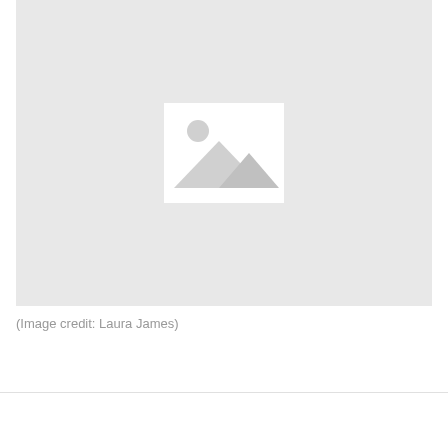[Figure (photo): Placeholder image with a landscape/mountain icon on a light gray background]
(Image credit: Laura James)